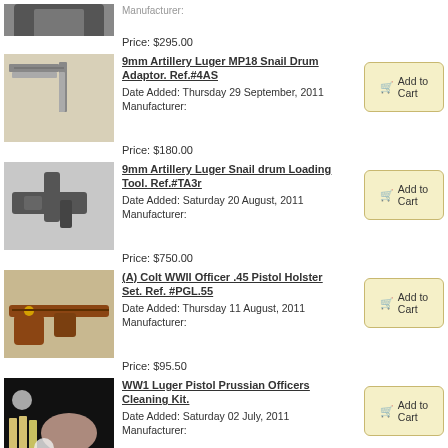[Figure (photo): Partial view of a firearm accessory at top of page, cut off]
Price: $295.00
[Figure (photo): 9mm Artillery Luger MP18 Snail Drum Adaptor metal piece]
9mm Artillery Luger MP18 Snail Drum Adaptor. Ref.#4AS
Date Added: Thursday 29 September, 2011
Manufacturer:
Price: $180.00
[Figure (photo): 9mm Artillery Luger Snail drum Loading Tool]
9mm Artillery Luger Snail drum Loading Tool. Ref.#TA3r
Date Added: Saturday 20 August, 2011
Manufacturer:
Price: $750.00
[Figure (photo): Colt WWII Officer .45 Pistol Holster Set with belt]
(A) Colt WWII Officer .45 Pistol Holster Set. Ref. #PGL.55
Date Added: Thursday 11 August, 2011
Manufacturer:
Price: $95.50
[Figure (photo): WW1 Luger Pistol Prussian Officers Cleaning Kit with bag and tools on black background]
WW1 Luger Pistol Prussian Officers Cleaning Kit.
Date Added: Saturday 02 July, 2011
Manufacturer:
Price: $450.00